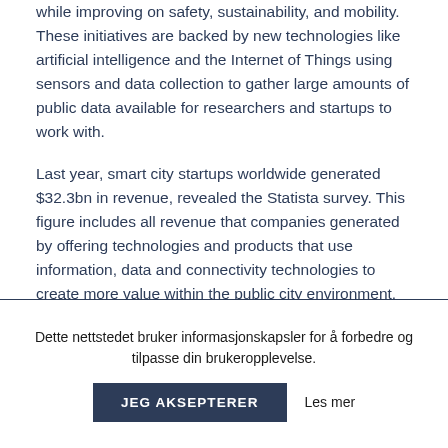while improving on safety, sustainability, and mobility. These initiatives are backed by new technologies like artificial intelligence and the Internet of Things using sensors and data collection to gather large amounts of public data available for researchers and startups to work with.
Last year, smart city startups worldwide generated $32.3bn in revenue, revealed the Statista survey. This figure includes all revenue that companies generated by offering technologies and products that use information, data and connectivity technologies to create more value within the public city environment.
In 2021, smart city startups' revenues are expected to grow
Dette nettstedet bruker informasjonskapsler for å forbedre og tilpasse din brukeropplevelse.
JEG AKSEPTERER
Les mer